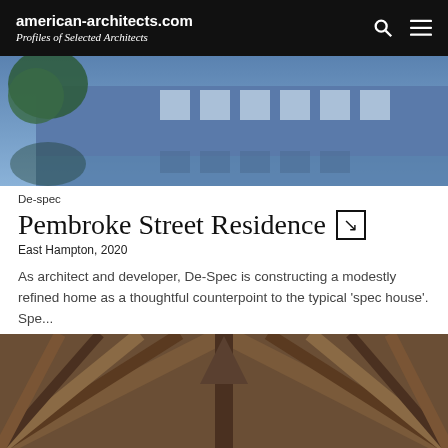american-architects.com Profiles of Selected Architects
[Figure (photo): Exterior photo of a modern building with large windows reflected in a pool of water, with trees on the left side. Building facade is blue/grey with white window frames.]
De-spec
Pembroke Street Residence
East Hampton, 2020
As architect and developer, De-Spec is constructing a modestly refined home as a thoughtful counterpoint to the typical 'spec house'. Spe...
[Figure (photo): Close-up of a wooden roof structure or timber framework, showing diagonal wood planks and beams arranged in a triangular/chevron pattern from below.]